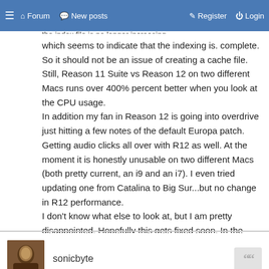≡ 🏠 Forum 💬 New posts ✎ Register ⏻ Login
which seems to indicate that the indexing is. complete. So it should not be an issue of creating a cache file. Still, Reason 11 Suite vs Reason 12 on two different Macs runs over 400% percent better when you look at the CPU usage. In addition my fan in Reason 12 is going into overdrive just hitting a few notes of the default Europa patch. Getting audio clicks all over with R12 as well. At the moment it is honestly unusable on two different Macs (both pretty current, an i9 and an i7). I even tried updating one from Catalina to Big Sur...but no change in R12 performance. I don't know what else to look at, but I am pretty disappointed. Hopefully this gets fixed soon. In the meantime I have to keep working in R11 Suite, because R12 just straight-up isn't working adequately.
sonicbyte